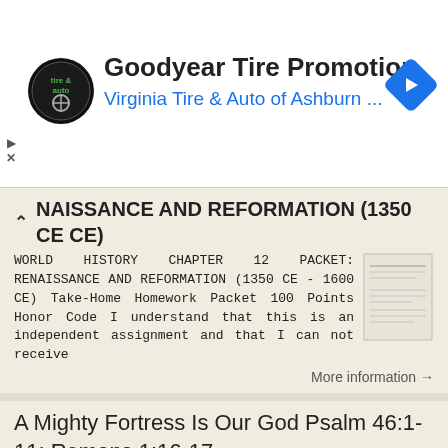[Figure (screenshot): Goodyear Tire Promotion advertisement banner with Virginia Tire & Auto of Ashburn logo and navigation arrow icon]
NAISSANCE AND REFORMATION (1350 CE CE)
WORLD HISTORY CHAPTER 12 PACKET: RENAISSANCE AND REFORMATION (1350 CE - 1600 CE) Take-Home Homework Packet 100 Points Honor Code I understand that this is an independent assignment and that I can not receive
More information →
A Mighty Fortress Is Our God Psalm 46:1-11; Romans 1:16-17
A Mighty Fortress Is Our God Psalm 46:1-11; Romans 1:16-17 Message by Michael I.